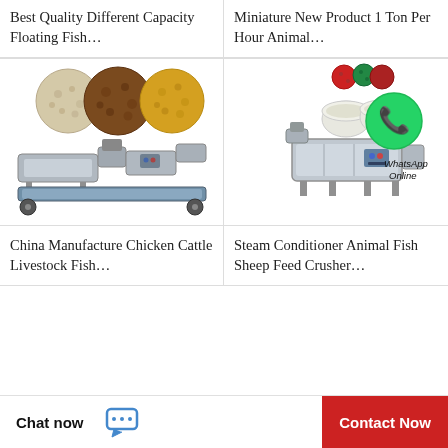Best Quality Different Capacity Floating Fish…
Miniature New Product 1 Ton Per Hour Animal…
[Figure (photo): Three circular pellets of different colors (white, brown, golden) and a fish feed processing machine line below]
[Figure (photo): Three colored pellet samples at top, two white cups with feed powder, and a stainless steel feed extruder machine with WhatsApp Online logo overlay]
China Manufacture Chicken Cattle Livestock Fish…
Steam Conditioner Animal Fish Sheep Feed Crusher…
Chat now
Contact Now